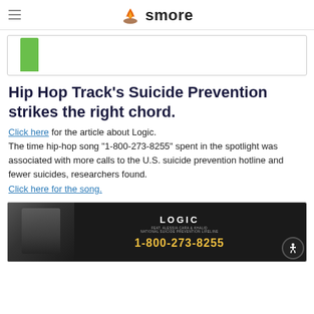smore
[Figure (other): Partial chart image with a green bar visible at the left side, cropped at the top]
Hip Hop Track's Suicide Prevention strikes the right chord.
Click here for the article about Logic. The time hip-hop song "1-800-273-8255" spent in the spotlight was associated with more calls to the U.S. suicide prevention hotline and fewer suicides, researchers found. Click here for the song.
[Figure (photo): Black and white photo of rapper Logic alongside text: LOGIC feat. Alessia Cara & Khalid, National Suicide Prevention Lifeline, 1-800-273-8255]